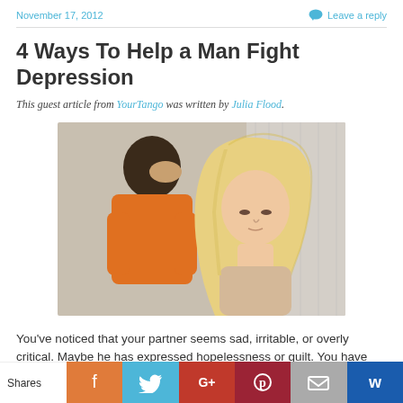November 17, 2012
Leave a reply
4 Ways To Help a Man Fight Depression
This guest article from YourTango was written by Julia Flood.
[Figure (photo): A couple sitting back to back, a man in an orange sweater with his hand on his head looking stressed, and a woman with long blonde hair looking down sadly.]
You've noticed that your partner seems sad, irritable, or overly critical. Maybe he has expressed hopelessness or guilt. You have
Shares